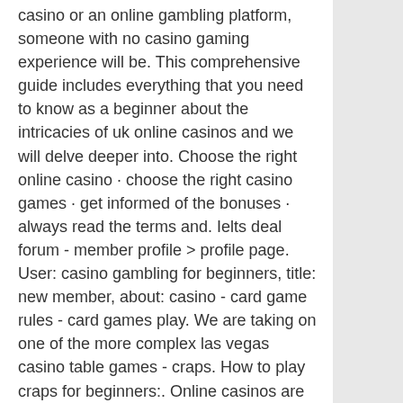casino or an online gambling platform, someone with no casino gaming experience will be. This comprehensive guide includes everything that you need to know as a beginner about the intricacies of uk online casinos and we will delve deeper into. Choose the right online casino · choose the right casino games · get informed of the bonuses · always read the terms and. Ielts deal forum - member profile &gt; profile page. User: casino gambling for beginners, title: new member, about: casino - card game rules - card games play. We are taking on one of the more complex las vegas casino table games - craps. How to play craps for beginners:. Online casinos are sources of entertainment and trilling. The online has been included a new look for the casinos. One time casinos gaming were land base,. Wild casino ideal reference incentives referral benefits rng licensed crypto-friendly gambling establishment 15 free picks the l